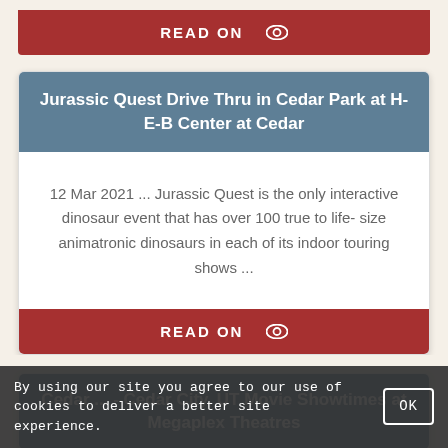READ ON
Jurassic Quest Drive Thru in Cedar Park at H-E-B Center at Cedar
12 Mar 2021 ... Jurassic Quest is the only interactive dinosaur event that has over 100 true to life- size animatronic dinosaurs in each of its indoor touring shows ...
READ ON
Cedar ... - Cedar City, UT Movie Showtimes at Megaplex Theatres
By using our site you agree to our use of cookies to deliver a better site experience.